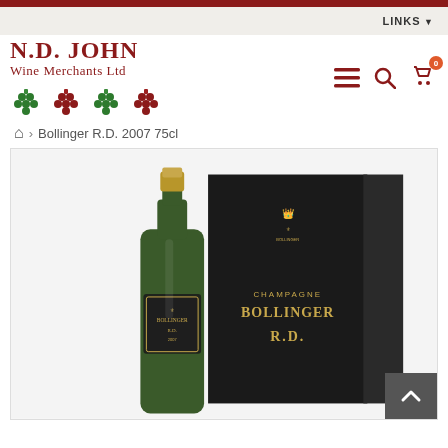LINKS
[Figure (logo): N.D. John Wine Merchants Ltd logo with grape bunch icons in red and green]
Bollinger R.D. 2007 75cl (breadcrumb navigation)
[Figure (photo): Product photo of Bollinger R.D. Champagne 2007 75cl bottle next to its black gift box packaging with gold text CHAMPAGNE BOLLINGER R.D.]